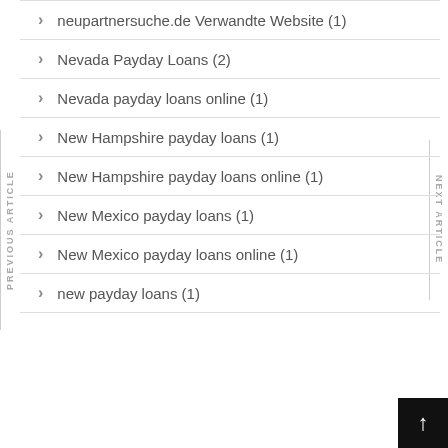neupartnersuche.de Verwandte Website (1)
Nevada Payday Loans (2)
Nevada payday loans online (1)
New Hampshire payday loans (1)
New Hampshire payday loans online (1)
New Mexico payday loans (1)
New Mexico payday loans online (1)
new payday loans (1)